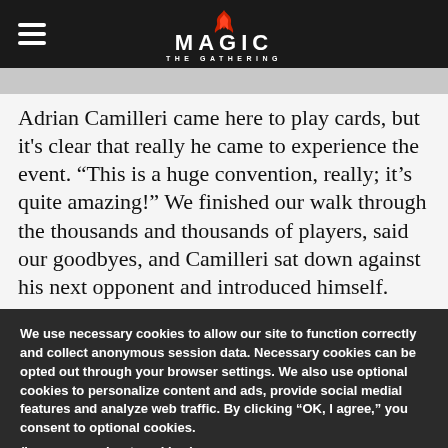[Figure (logo): Magic: The Gathering logo with red flame icon, white text on black navigation bar with hamburger menu icon on left]
Adrian Camilleri came here to play cards, but it's clear that really he came to experience the event. “This is a huge convention, really; it’s quite amazing!” We finished our walk through the thousands and thousands of players, said our goodbyes, and Camilleri sat down against his next opponent and introduced himself.
We use necessary cookies to allow our site to function correctly and collect anonymous session data. Necessary cookies can be opted out through your browser settings. We also use optional cookies to personalize content and ads, provide social medial features and analyze web traffic. By clicking “OK, I agree,” you consent to optional cookies.
(Learn more about cookies.)